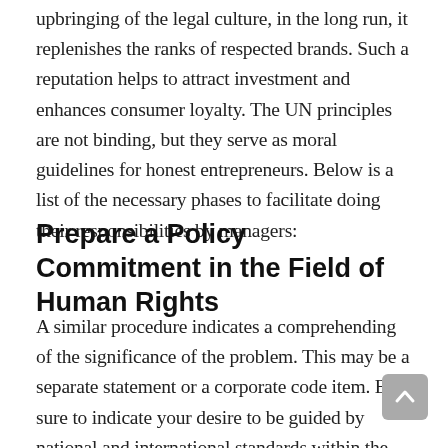upbringing of the legal culture, in the long run, it replenishes the ranks of respected brands. Such a reputation helps to attract investment and enhances consumer loyalty. The UN principles are not binding, but they serve as moral guidelines for honest entrepreneurs. Below is a list of the necessary phases to facilitate doing their responsibilities by managers:
Prepare a Policy Commitment in the Field of Human Rights
A similar procedure indicates a comprehending of the significance of the problem. This may be a separate statement or a corporate code item. Be sure to indicate your desire to be guided by national and international standards within the firm. An akin